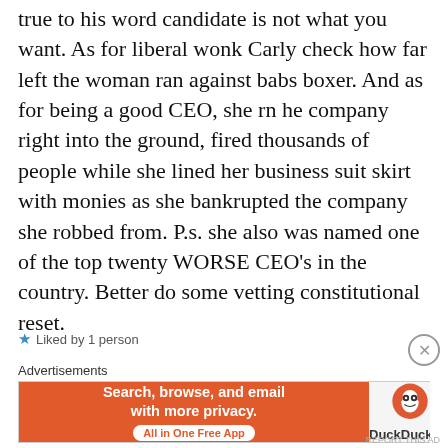true to his word candidate is not what you want. As for liberal wonk Carly check how far left the woman ran against babs boxer. And as for being a good CEO, she rn he company right into the ground, fired thousands of people while she lined her business suit skirt with monies as she bankrupted the company she robbed from. P.s. she also was named one of the top twenty WORSE CEO's in the country. Better do some vetting constitutional reset.
★ Liked by 1 person
Advertisements
[Figure (screenshot): DuckDuckGo advertisement banner with orange background, text 'Search, browse, and email with more privacy. All in One Free App' and DuckDuckGo logo on dark background]